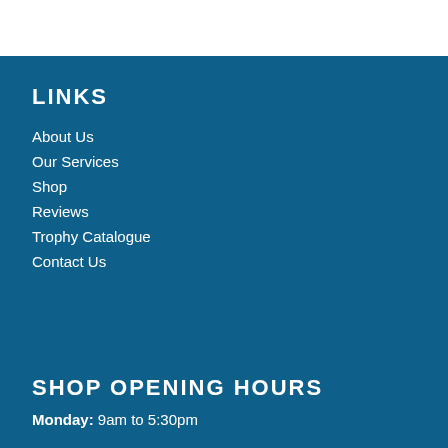LINKS
About Us
Our Services
Shop
Reviews
Trophy Catalogue
Contact Us
SHOP OPENING HOURS
Monday: 9am to 5:30pm